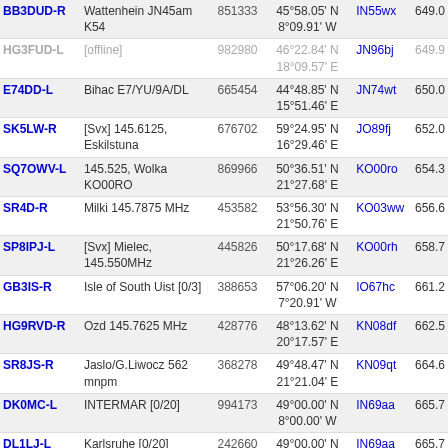| Callsign | Description | Node | Coordinates | Grid | Dist |
| --- | --- | --- | --- | --- | --- |
| BB3DUD-R | Wattenhein JN45am K54 | 851333 | 45°58.05' N 8°09.91' W | IN55wx | 649.0 |
| HG3FUD-L | [offline] | 982980 | 46°22.84' N 18°09.57' E | JN96bj | 649.9 |
| E74DD-L | Bihac E7/YU/9A/DL | 665454 | 44°48.85' N 15°51.46' E | JN74wt | 650.0 |
| SK5LW-R | [Svx] 145.6125, Eskilstuna | 676702 | 59°24.95' N 16°29.46' E | JO89fj | 652.0 |
| SQ7OWV-L | 145.525, Wolka KO00RO | 869966 | 50°36.51' N 21°27.68' E | KO00ro | 654.3 |
| SR4D-R | Milki 145.7875 MHz | 453582 | 53°56.30' N 21°50.76' E | KO03ww | 656.6 |
| SP8IPJ-L | [Svx] Mielec, 145.550MHz | 445826 | 50°17.68' N 21°26.26' E | KO00rh | 658.7 |
| GB3IS-R | Isle of South Uist [0/3] | 388653 | 57°06.20' N 7°20.91' W | IO67hc | 661.2 |
| HG9RVD-R | Ozd 145.7625 MHz | 428776 | 48°13.62' N 20°17.57' E | KN08df | 662.5 |
| SR8JS-R | Jaslo/G.Liwocz 562 mnpm | 368278 | 49°48.47' N 21°21.04' E | KN09qt | 664.6 |
| DK0MC-L | INTERMAR [0/20] | 994173 | 49°00.00' N 8°00.00' W | IN69aa | 665.7 |
| DL1LJ-L | Karlsruhe [0/20] | 242660 | 49°00.00' N 8°00.00' W | IN69aa | 665.7 |
| F4VTG-L | [offline] | 312888 | 42°34.61' N 2°25.64' E | JN12fn | 668.8 |
| SP8KKM-L | [Svx] 145.300, Ostrow | 957154 | 50°05.93' N | KO00tc | 669.1 |